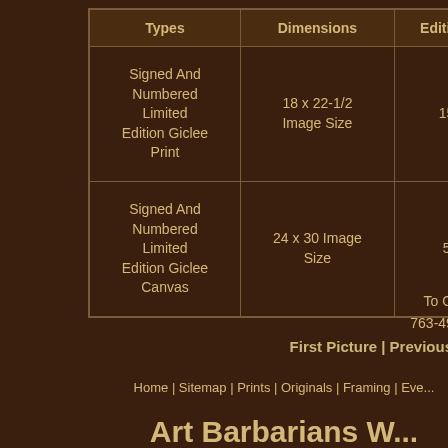| Types | Dimensions | Edition S |
| --- | --- | --- |
| Signed And Numbered Limited Edition Giclee Print | 18 x 22-1/2 Image Size | 150 |
| Signed And Numbered Limited Edition Giclee Canvas | 24 x 30 Image Size | 50 |
To Order 763-494-...
First Picture | Previous Picture
Home | Sitemap | Prints | Originals | Framing | Ever...
Art Barbarians W...
21360 John Mi...